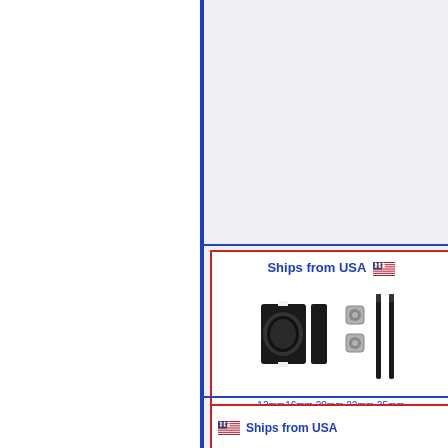[Figure (screenshot): Left white panel with blue right border vertical divider line]
[Figure (screenshot): Product listing screenshot showing 'Ships from USA' badge with US flag, image of black motor mount clamps with screws and nuts, sizes 12mm 16mm 20mm 22mm 25mm, Buy Now button, and FREE shipping orange badge]
[Figure (screenshot): Bottom product listing section showing 'Ships from USA' text with US flag and partial product image]